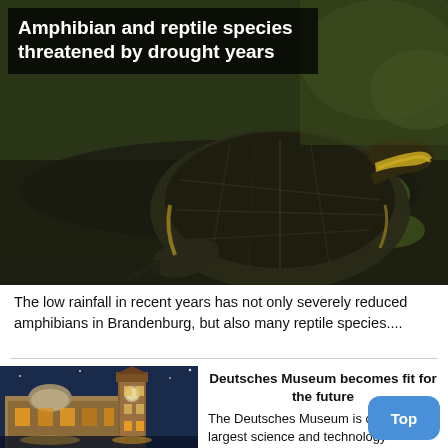[Figure (photo): Close-up photo of a yellow-striped pond turtle on dark rocks with green lily pads in the background]
Amphibian and reptile species threatened by drought years
The low rainfall in recent years has not only severely reduced amphibians in Brandenburg, but also many reptile species....
[Figure (photo): Evening photo of the Deutsches Museum building in Munich, illuminated with warm lights, with a tower visible against a blue sky]
Deutsches Museum becomes fit for the future
The Deutsches Museum is one of the largest science and technology museums in the world. It has been undergoing...